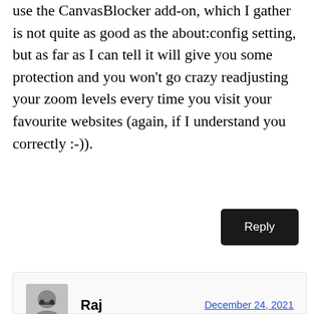use the CanvasBlocker add-on, which I gather is not quite as good as the about:config setting, but as far as I can tell it will give you some protection and you won’t go crazy readjusting your zoom levels every time you visit your favourite websites (again, if I understand you correctly :-)).
Reply
Raj
December 24, 2021
No. That’s not what I mean. Zooming is not the issue. Resizing FF’s window is. I can’t resize FF’s window and make